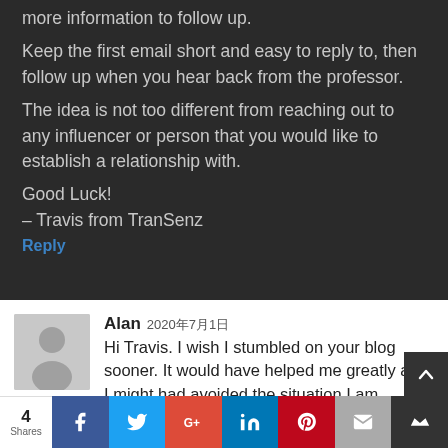more information to follow up. Keep the first email short and easy to reply to, then follow up when you hear back from the professor. The idea is not too different from reaching out to any influencer or person that you would like to establish a relationship with. Good Luck! – Travis from TranSenz
Reply
Alan 2020年7月1日
Hi Travis. I wish I stumbled on your blog sooner. It would have helped me greatly and I might had avoided the situation I am currently in. I believe I